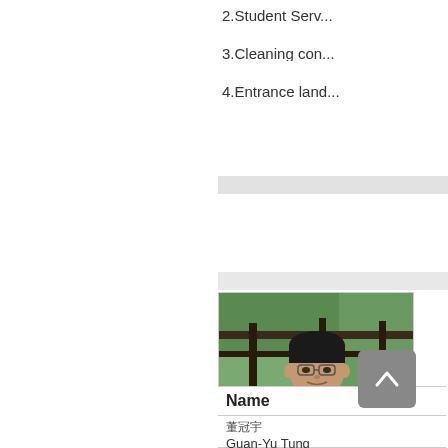2.Student Serv...
3.Cleaning con...
4.Entrance land...
[Figure (photo): Portrait photo of Guan-Yu Tung, a man wearing glasses and a blue polo shirt, standing outdoors with green foliage in the background]
Name
董冠宇
Guan-Yu Tung
Responsibility
Responsibilit...